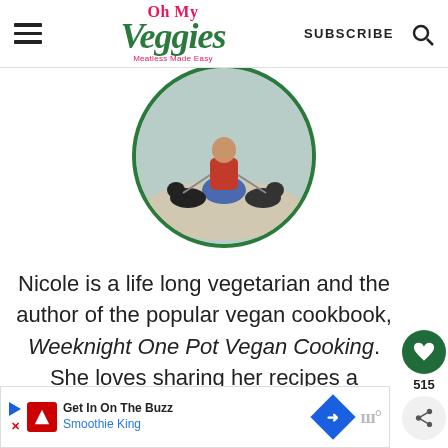Oh My Veggies — Meatless Made Easy | SUBSCRIBE | Search
[Figure (photo): Circular profile photo showing a person crouching with dogs on leashes outdoors]
Nicole is a life long vegetarian and the author of the popular vegan cookbook, Weeknight One Pot Vegan Cooking. She loves sharing her recipes a showing the world just how easy and
[Figure (infographic): Ad banner: Get In On The Buzz — Smoothie King advertisement with navigation icons]